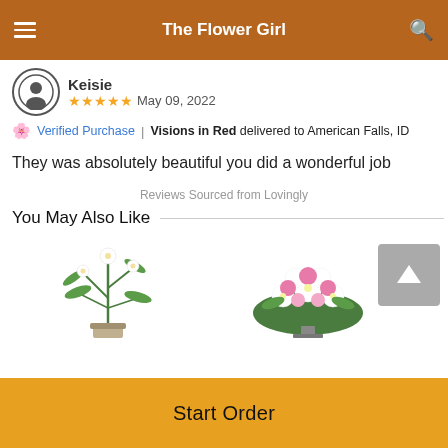The Flower Girl
Keisie   ★★★★★   May 09, 2022
Verified Purchase | Visions in Red delivered to American Falls, ID
They was absolutely beautiful you did a wonderful job
Reviews Sourced from Lovingly
You May Also Like
[Figure (photo): Two flower arrangements shown side by side: tall green plant with white flowers on left, pink and white flower arrangement on right]
Start Order